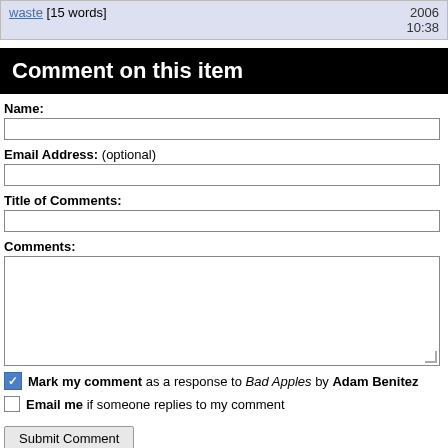| waste [15 words] | 2006
10:38 |
Comment on this item
Name:
Email Address: (optional)
Title of Comments:
Comments:
Mark my comment as a response to Bad Apples by Adam Benitez
Email me if someone replies to my comment
Submit Comment
Note: Opinions expressed in comments are those of the authors alone and not necessarily those of Daniel Pipes. Original writing only, please. Comments are